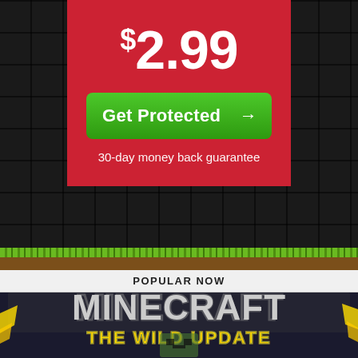$2.99
Get Protected →
30-day money back guarantee
POPULAR NOW
[Figure (screenshot): Minecraft: The Wild Update promotional screenshot showing the game's block-style logo with teal and yellow styling]